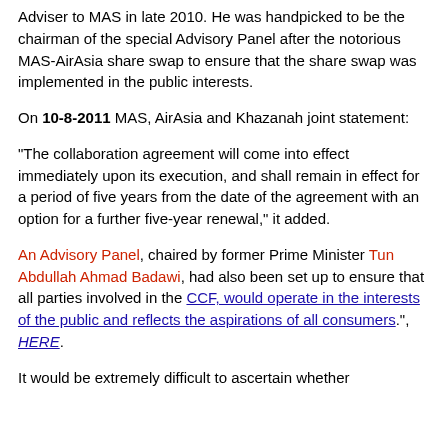Adviser to MAS in late 2010. He was handpicked to be the chairman of the special Advisory Panel after the notorious MAS-AirAsia share swap to ensure that the share swap was implemented in the public interests.
On 10-8-2011 MAS, AirAsia and Khazanah joint statement:
“The collaboration agreement will come into effect immediately upon its execution, and shall remain in effect for a period of five years from the date of the agreement with an option for a further five-year renewal,” it added.
An Advisory Panel, chaired by former Prime Minister Tun Abdullah Ahmad Badawi, had also been set up to ensure that all parties involved in the CCF, would operate in the interests of the public and reflects the aspirations of all consumers.", HERE.
It would be extremely difficult to ascertain whether